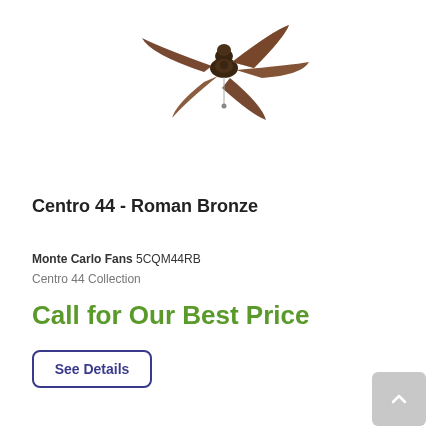[Figure (photo): Ceiling fan with five dark brown wooden blades, bronze motor housing, and a pull chain. The fan is shown from a slightly angled top-down perspective on a white background.]
Centro 44 - Roman Bronze
Monte Carlo Fans 5CQM44RB
Centro 44 Collection
Call for Our Best Price
See Details